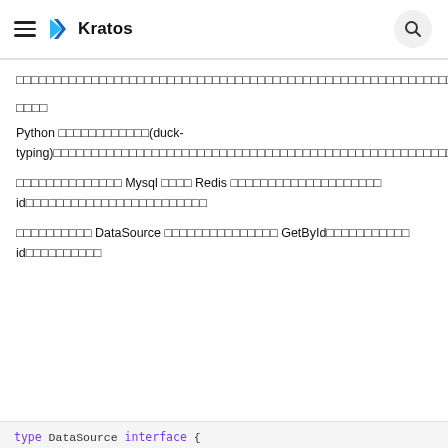Kratos
□□□□□□□□□□□□□□□□□□□□□□□□□□□□□□□□□□□□□□□□□□□□□□□□□□□□□□□□□□□□□□□□□□□□□□□□□□□□□□□□□□□□□□□□□□□□□□□□□□□□□□□□□□□□□□□□□□□□□□□□□□□□□□□□□□□□□□□□□□□□□□□□□
□□□□
Python □□□□□□□□□□□□(duck-typing)□□□□□□□□□□□□□□□□□□□□□□□□□□□□□□□□□□□□□□□□□□□□□□□□□□□□□□□□□□□□□□□□□□□□□□□□□□□□□□□□□□□□□□□□□□□□□□□□□□□□□□□□□□□□□□□□□□□□□□
□□□□□□□□□□□□□□ Mysql □□□□ Redis □□□□□□□□□□□□□□□□□□□□ id□□□□□□□□□□□□□□□□□□□□□□□□
□□□□□□□□□□ DataSource □□□□□□□□□□□□□□□ GetById□□□□□□□□□□□ id□□□□□□□□□□
type DataSource interface {